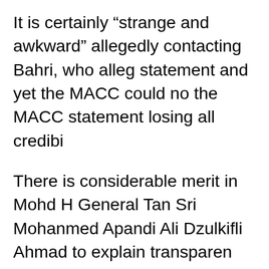It is certainly “strange and awkward” allegedly contacting Bahri, who alleg statement and yet the MACC could no the MACC statement losing all credibi
There is considerable merit in Mohd H General Tan Sri Mohanmed Apandi Ali Dzulkifli Ahmad to explain transparen International and why the SRC Intern when it seems to be an open-and-shu Seri Najib Razak for corruption and ab